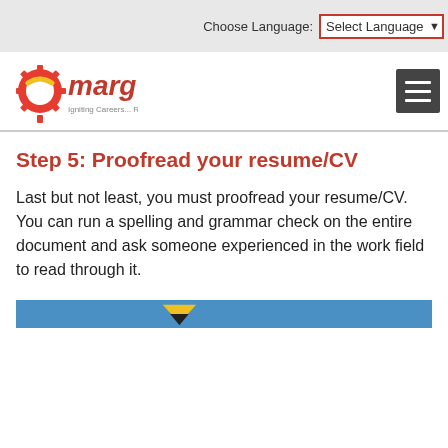Choose Language: Select Language
[Figure (logo): Marg logo with gear icon and tagline 'Igniting Careers... Realizing Potential']
Step 5: Proofread your resume/CV
Last but not least, you must proofread your resume/CV. You can run a spelling and grammar check on the entire document and ask someone experienced in the work field to read through it.
[Figure (other): Blue banner with yellow/black upward arrow icon]